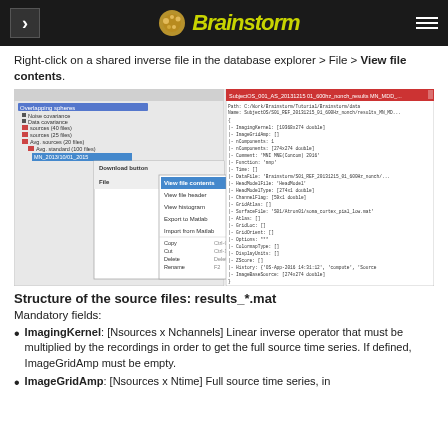Brainstorm
Right-click on a shared inverse file in the database explorer > File > View file contents.
[Figure (screenshot): Screenshot showing Brainstorm database explorer with right-click context menu open showing 'View file contents' option, alongside a file contents viewer window displaying structure fields like ImagingKernel, ImageGridAmp, etc.]
Structure of the source files: results_*.mat
Mandatory fields:
ImagingKernel: [Nsources x Nchannels] Linear inverse operator that must be multiplied by the recordings in order to get the full source time series. If defined, ImageGridAmp must be empty.
ImageGridAmp: [Nsources x Ntime] Full source time series, in